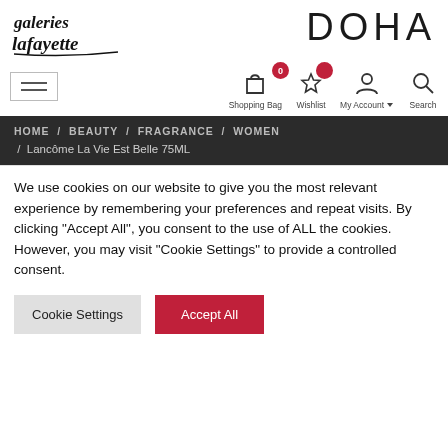[Figure (logo): Galeries Lafayette handwritten script logo with DOHA text]
[Figure (infographic): Navigation bar with hamburger menu, shopping bag icon (badge 0), wishlist star icon (filled badge), My Account icon, Search icon]
HOME / BEAUTY / FRAGRANCE / WOMEN / Lancôme La Vie Est Belle 75ML
We use cookies on our website to give you the most relevant experience by remembering your preferences and repeat visits. By clicking "Accept All", you consent to the use of ALL the cookies. However, you may visit "Cookie Settings" to provide a controlled consent.
Cookie Settings | Accept All